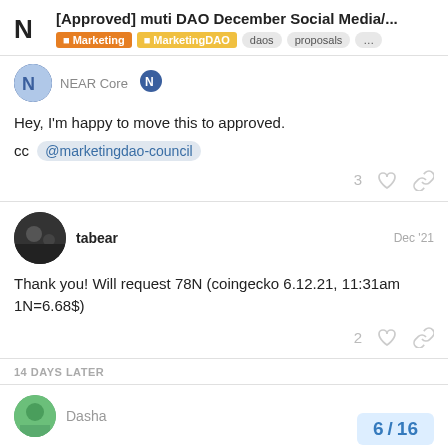[Approved] muti DAO December Social Media/... | Marketing | MarketingDAO | daos | proposals | ...
NEAR Core
Hey, I'm happy to move this to approved.
cc @marketingdao-council
3 ♡ 🔗
tabear Dec '21
Thank you! Will request 78N (coingecko 6.12.21, 11:31am 1N=6.68$)
2 ♡ 🔗
14 DAYS LATER
Dasha
6 / 16